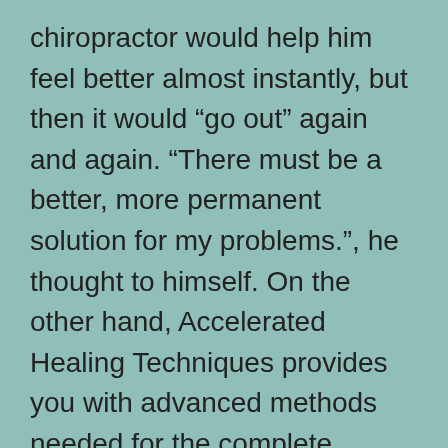chiropractor would help him feel better almost instantly, but then it would “go out” again and again. “There must be a better, more permanent solution for my problems.”, he thought to himself. On the other hand, Accelerated Healing Techniques provides you with advanced methods needed for the complete elimination of back pain. Once you start using this product, you will soon realize the benefits of it. Written from years of experience, Targeted Spinal Release Formula reveals the science-based techniques that pave your path to get rid of the back pain at